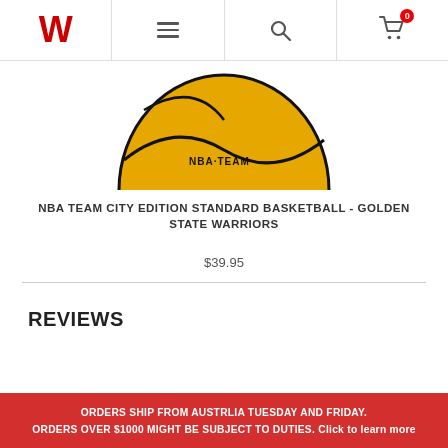Wilson logo, menu, search, cart navigation
[Figure (photo): Top portion of a yellow and black NBA Golden State Warriors basketball against a white background]
NBA TEAM CITY EDITION STANDARD BASKETBALL - GOLDEN STATE WARRIORS
$39.95
REVIEWS
ORDERS SHIP FROM AUSTRLIA TUESDAY AND FRIDAY. ORDERS OVER $1000 MIGHT BE SUBJECT TO DUTIES. Click to learn more